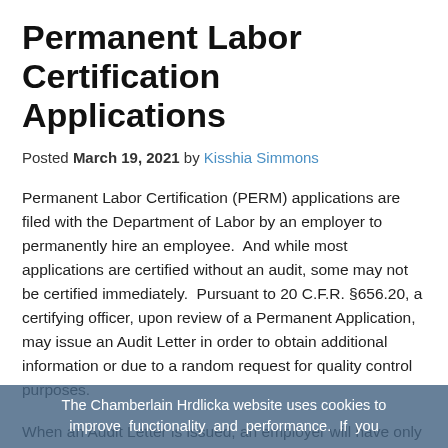Permanent Labor Certification Applications
Posted March 19, 2021 by Kisshia Simmons
Permanent Labor Certification (PERM) applications are filed with the Department of Labor by an employer to permanently hire an employee.  And while most applications are certified without an audit, some may not be certified immediately.  Pursuant to 20 C.F.R. §656.20, a certifying officer, upon review of a Permanent Application, may issue an Audit Letter in order to obtain additional information or due to a random request for quality control purposes.
When an Audit Letter is issued, an employer will have only 30 days to respond and provide all relevant PERM documents. Given the need to obtain a fair amount of documentary evidence over this short period of time, we
The Chamberlain Hrdlicka website uses cookies to improve functionality and performance. If you